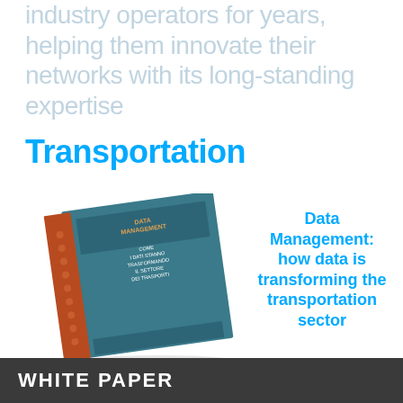industry operators for years, helping them innovate their networks with its long-standing expertise
Transportation
[Figure (photo): A book/white paper with a dark teal cover showing a red spine with a pattern of circles. The cover reads: DATA MANAGEMENT: COME I DATI STANNO TRASFORMANDO IL SETTORE DEI TRASPORTI. The book is shown at an angle.]
Data Management: how data is transforming the transportation sector
WHITE PAPER